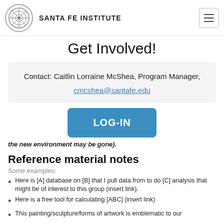SANTA FE INSTITUTE
Get Involved!
Contact: Caitlin Lorraine McShea, Program Manager, cmcshea@santafe.edu
[Figure (other): LOG-IN button (blue rounded rectangle)]
the new environment may be gone).
Reference material notes
Some examples:
Here is [A] database on [B] that I pull data from to do [C] analysis that might be of interest to this group (insert link).
Here is a free tool for calculating [ABC] (insert link)
This painting/sculpture/forms of artwork is emblematic to our